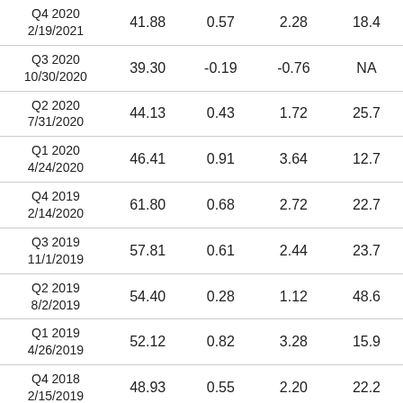| Q4 2020
2/19/2021 | 41.88 | 0.57 | 2.28 | 18.4 |
| Q3 2020
10/30/2020 | 39.30 | -0.19 | -0.76 | NA |
| Q2 2020
7/31/2020 | 44.13 | 0.43 | 1.72 | 25.7 |
| Q1 2020
4/24/2020 | 46.41 | 0.91 | 3.64 | 12.7 |
| Q4 2019
2/14/2020 | 61.80 | 0.68 | 2.72 | 22.7 |
| Q3 2019
11/1/2019 | 57.81 | 0.61 | 2.44 | 23.7 |
| Q2 2019
8/2/2019 | 54.40 | 0.28 | 1.12 | 48.6 |
| Q1 2019
4/26/2019 | 52.12 | 0.82 | 3.28 | 15.9 |
| Q4 2018
2/15/2019 | 48.93 | 0.55 | 2.20 | 22.2 |